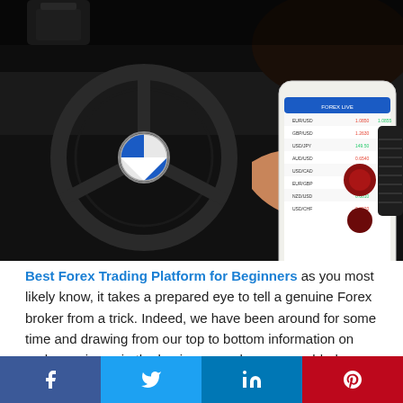[Figure (photo): Person holding a smartphone showing forex trading app while sitting in a car with BMW steering wheel visible; person wearing a watch on their wrist]
Best Forex Trading Platform for Beginners as you most likely know, it takes a prepared eye to tell a genuine Forex broker from a trick. Indeed, we have been around for some time and drawing from our top to bottom information on and experience in the business, we have assembled a rundown of the best Forex merchants.